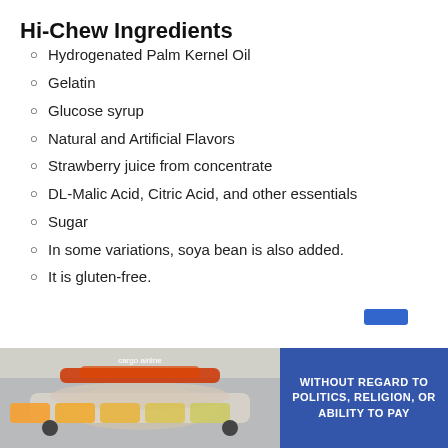Hi-Chew Ingredients
Hydrogenated Palm Kernel Oil
Gelatin
Glucose syrup
Natural and Artificial Flavors
Strawberry juice from concentrate
DL-Malic Acid, Citric Acid, and other essentials
Sugar
In some variations, soya bean is also added.
It is gluten-free.
Since it contains Gelatin and Palm Kernel Oil, it can h
[Figure (photo): Advertisement banner showing an airplane being loaded with cargo, with text 'WITHOUT REGARD TO POLITICS, RELIGION, OR ABILITY TO PAY']